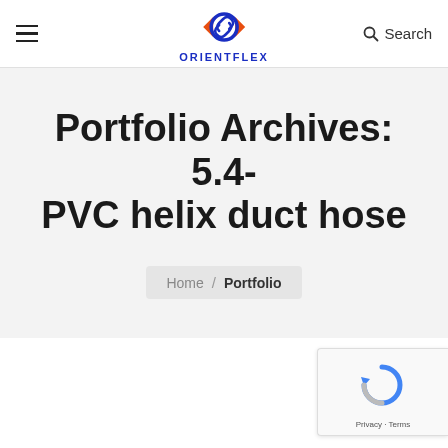ORIENTFLEX — Navigation header with logo and search
Portfolio Archives: 5.4-PVC helix duct hose
Home / Portfolio
[Figure (logo): reCAPTCHA badge with Google reCAPTCHA logo and Privacy - Terms text]